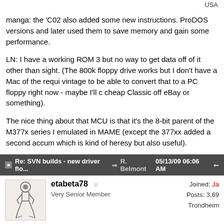USA
manga: the 'C02 also added some new instructions. ProDOS versions and later used them to save memory and gain some performance.
LN: I have a working ROM 3 but no way to get data off of it other than sight. (The 800k floppy drive works but I don't have a Mac of the requi vintage to be able to convert that to a PC floppy right now - maybe I'll cheap Classic off eBay or something).
The nice thing about that MCU is that it's the 8-bit parent of the M377x series I emulated in MAME (except the 377xx added a second accum which is kind of heresy but also useful).
Re: SVN builds - new driver flo... R. Belmont 05/13/09 06:06 AM
etabeta78   Very Senior Member
Joined: Ja
Posts: 3,69
Trondheim
just to add my two cents: I think apple2c0, apple2c3, apple2c4 can be merged to use BIOS (but not with apple2c, due to the lack of IWM), th others may be left separate since they come from different machines,